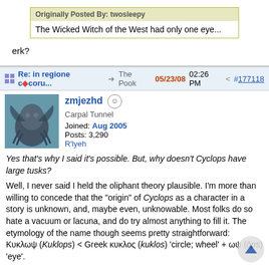Originally Posted By: twosleepy
The Wicked Witch of the West had only one eye...
erk?
Re: in regione c◆coru...   The Pook   05/23/08 02:26 PM   #177118
zmjezhd   Carpal Tunnel   Joined: Aug 2005   Posts: 3,290   R'lyeh
Yes that's why I said it's possible. But, why doesn't Cyclops have large tusks?

Well, I never said I held the oliphant theory plausible. I'm more than willing to concede that the "origin" of Cyclops as a character in a story is unknown, and, maybe even, unknowable. Most folks do so hate a vacuum or lacuna, and do try almost anything to fill it. The etymology of the name though seems pretty straightforward: Κυκλωψ (Kuklops) < Greek κυκλος (kuklos) 'circle; wheel' + ωψ (ōps) 'eye'.